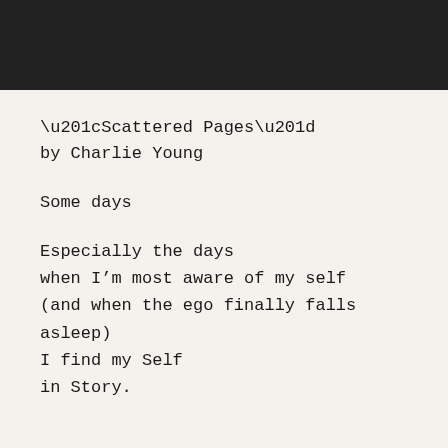[Figure (other): Dark black header bar spanning the top of the page]
“Scattered Pages”
by Charlie Young
Some days
Especially the days
when I’m most aware of my self
(and when the ego finally falls asleep)
I find my Self
in Story.